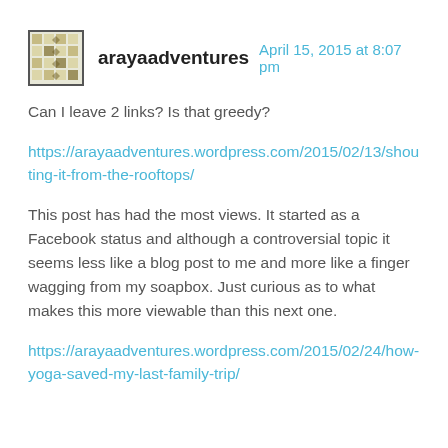arayaadventures  April 15, 2015 at 8:07 pm
Can I leave 2 links? Is that greedy?
https://arayaadventures.wordpress.com/2015/02/13/shouting-it-from-the-rooftops/
This post has had the most views. It started as a Facebook status and although a controversial topic it seems less like a blog post to me and more like a finger wagging from my soapbox. Just curious as to what makes this more viewable than this next one.
https://arayaadventures.wordpress.com/2015/02/24/how-yoga-saved-my-last-family-trip/